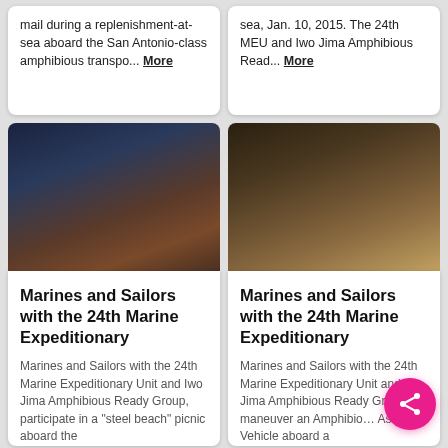mail during a replenishment-at-sea aboard the San Antonio-class amphibious transpo... More
sea, Jan. 10, 2015. The 24th MEU and Iwo Jima Amphibious Read... More
[Figure (photo): Aerial or deck view of Marines/Sailors at dusk or night, dark reddish tones]
[Figure (photo): Interior shot of Marines/Sailors with equipment, warm golden lighting]
Marines and Sailors with the 24th Marine Expeditionary
Marines and Sailors with the 24th Marine Expeditionary Unit and Iwo Jima Amphibious Ready Group, participate in a "steel beach" picnic aboard the
Marines and Sailors with the 24th Marine Expeditionary
Marines and Sailors with the 24th Marine Expeditionary Unit and Iwo Jima Amphibious Ready Gr… maneuver an Amphibio… Assault Vehicle aboard a